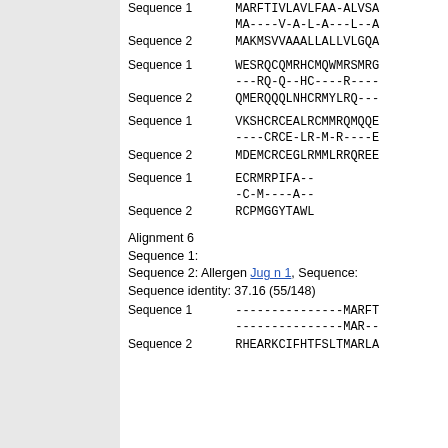Sequence  1  MARFTIVLAVLFAA-ALVSA
             MA----V-A-L-A---L--A
Sequence  2  MAKMSVVAAALLALLVLGQA
Sequence  1  WESRQCQMRHCMQWMRSMRG
             ---RQ-Q--HC----R----
Sequence  2  QMERQQQLNHCRMYLRQ---
Sequence  1  VKSHCRCEALRCMMRQMQQE
             ----CRCE-LR-M-R----E
Sequence  2  MDEMCRCEGLRMMLRRQREE
Sequence  1  ECRMRPIFA--
             -C-M----A--
Sequence  2  RCPMGGYTAWL
Alignment 6
Sequence 1:
Sequence 2: Allergen Jug n 1, Sequence:
Sequence identity: 37.16 (55/148)
Sequence  1  ---------------MARFT
             ---------------MAR--
Sequence  2  RHEARKCIFHTFSLTMARLA